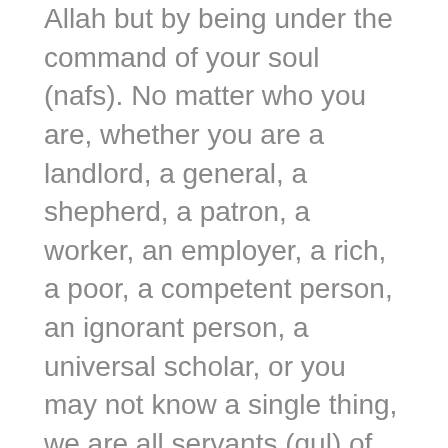Allah but by being under the command of your soul (nafs). No matter who you are, whether you are a landlord, a general, a shepherd, a patron, a worker, an employer, a rich, a poor, a competent person, an ignorant person, a universal scholar, or you may not know a single thing, we are all servants (qul) of Allah. We have to obey Allah. Those who know among us shall be beneficial to the society with true (haqq) knowledge, and those who don't should follow the way of benefiting from those who know.